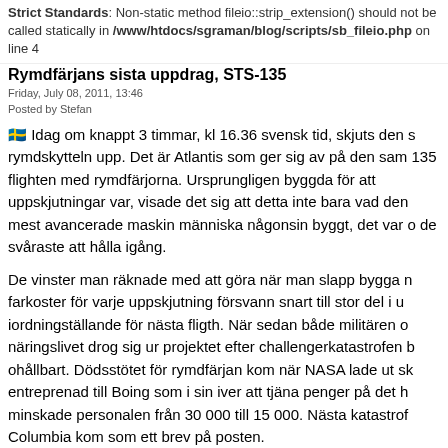Strict Standards: Non-static method fileio::strip_extension() should not be called statically in /www/htdocs/sgraman/blog/scripts/sb_fileio.php on line 4
Rymdfärjans sista uppdrag, STS-135
Friday, July 08, 2011, 13:46
Posted by Stefan
🇸🇪 Idag om knappt 3 timmar, kl 16.36 svensk tid, skjuts den sista rymdskytteln upp. Det är Atlantis som ger sig av på den samma 135 flighten med rymdfärjorna. Ursprungligen byggda för att uppskjutningar var, visade det sig att detta inte bara vad den mest avancerade maskin människa någonsin byggt, det var också de svåraste att hålla igång.
De vinster man räknade med att göra när man slapp bygga nya farkoster för varje uppskjutning försvann snart till stor del i underhållande iordningställande för nästa fligth. När sedan både militären och näringslivet drog sig ur projektet efter challengerkatastrofen blev det ohållbart. Dödsstötet för rymdfärjan kom när NASA lade ut skötseln på entreprenad till Boing som i sin iver att tjäna penger på det hela minskade personalen från 30 000 till 15 000. Nästa katastrof med Columbia kom som ett brev på posten.
Det är sorligt att se att USA inte har något nytt kommersiellt rymdprogram i kölvattnet nu när Ares-projektet är skrotat utan att förliga sig helt på utländska rymdprogram och privata alternativ som SpaceX.